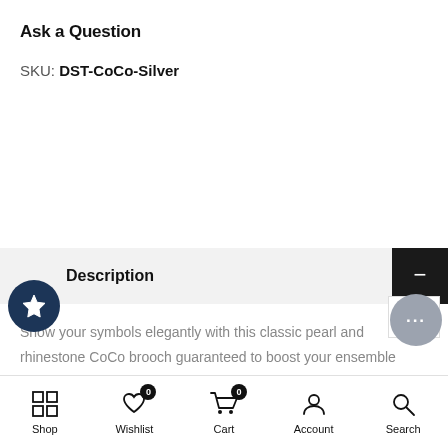Ask a Question
SKU: DST-CoCo-Silver
Description
Show your symbols elegantly with this classic pearl and rhinestone CoCo brooch guaranteed to boost your ensemble while taking care of Sorority business!
Brooches are a fun and easy way to add style and pers…
Shop   Wishlist 0   Cart 0   Account   Search